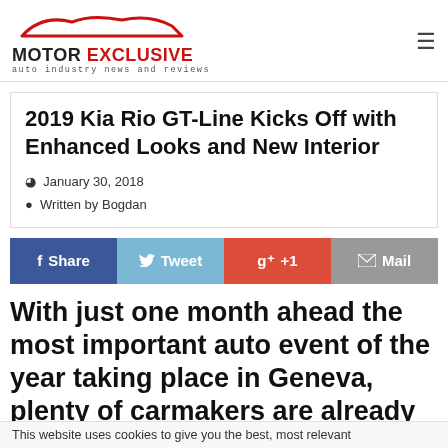MOTOR EXCLUSIVE — auto industry news and reviews
2019 Kia Rio GT-Line Kicks Off with Enhanced Looks and New Interior
January 30, 2018
Written by Bogdan
[Figure (infographic): Social sharing bar with four buttons: f Share (dark blue), Tweet (light blue), g+ +1 (red), Mail (grey)]
With just one month ahead the most important auto event of the year taking place in Geneva, plenty of carmakers are already making final
This website uses cookies to give you the best, most relevant